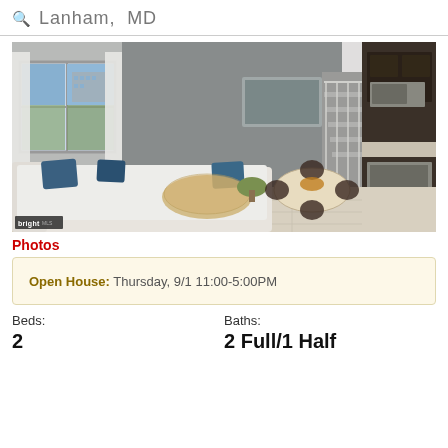Lanham, MD
[Figure (photo): Interior photo of a modern townhouse living room with gray walls, white sectional sofa, blue accent pillows, open-plan dining area, staircase, and kitchen with dark cabinets and stainless steel appliances. Bright MLS watermark in bottom-left corner.]
Photos
Open House: Thursday, 9/1 11:00-5:00PM
Beds: 2
Baths: 2 Full/1 Half